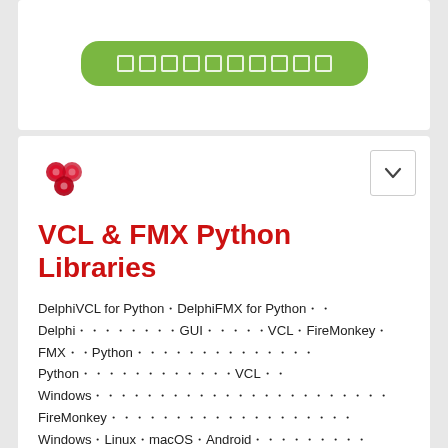[Figure (other): Green rounded button with white square icons arranged in a row]
[Figure (logo): Embarcadero / GetIt logo: red stylized snake/octopus emblem]
VCL & FMX Python Libraries
DelphiVCL for Python・DelphiFMX for Python・・Delphi・・・・・・・・GUI・・・・・VCL・FireMonkey・FMX・・Python・・・・・・・・・・・・・・Python・・・・・・・・・・・・VCL・・Windows・・・・・・・・・・・・・・・・・・・・・・・FireMonkey・・・・・・・・・・・・・・・・・・・Windows・Linux・macOS・Android・・・・・・・・・